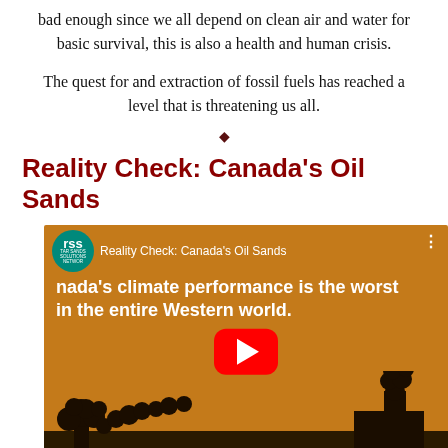bad enough since we all depend on clean air and water for basic survival, this is also a health and human crisis.
The quest for and extraction of fossil fuels has reached a level that is threatening us all.
Reality Check: Canada's Oil Sands
[Figure (screenshot): YouTube video thumbnail for 'Reality Check: Canada's Oil Sands' by Tar Sands Solutions Network (RSS). Orange background with silhouette of factory emitting smoke. Text reads: nada's climate performance is the worst in the entire Western world. Red YouTube play button in center.]